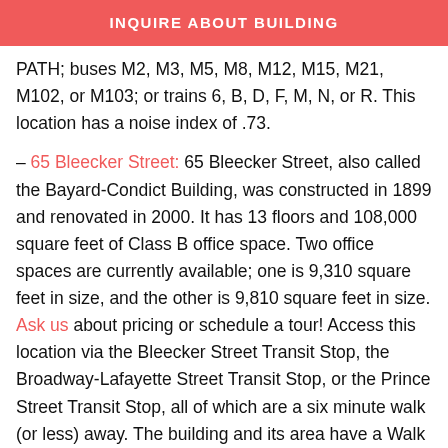INQUIRE ABOUT BUILDING
PATH; buses M2, M3, M5, M8, M12, M15, M21, M102, or M103; or trains 6, B, D, F, M, N, or R. This location has a noise index of .73.
– 65 Bleecker Street: 65 Bleecker Street, also called the Bayard-Condict Building, was constructed in 1899 and renovated in 2000. It has 13 floors and 108,000 square feet of Class B office space. Two office spaces are currently available; one is 9,310 square feet in size, and the other is 9,810 square feet in size. Ask us about pricing or schedule a tour! Access this location via the Bleecker Street Transit Stop, the Broadway-Lafayette Street Transit Stop, or the Prince Street Transit Stop, all of which are a six minute walk (or less) away. The building and its area have a Walk Score of 100. Think Coffee, Bite, and Starbucks are great coffee